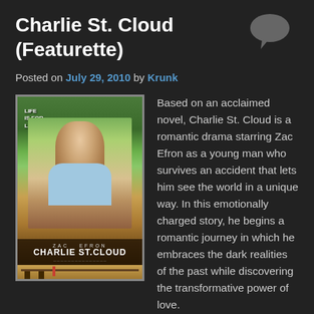Charlie St. Cloud (Featurette)
Posted on July 29, 2010 by Krunk
[Figure (photo): Movie poster for Charlie St. Cloud featuring Zac Efron looking upward with text 'Life Is For Living', 'ZAC EFRON', 'CHARLIE ST.CLOUD' and a dock scene below]
Based on an acclaimed novel, Charlie St. Cloud is a romantic drama starring Zac Efron as a young man who survives an accident that lets him see the world in a unique way. In this emotionally charged story, he begins a romantic journey in which he embraces the dark realities of the past while discovering the transformative power of love. Accomplished sailor Charlie St. Cloud (Efron) has the adoration of mother Claire (Oscar® winner Kim Basinger) and little brother Sam